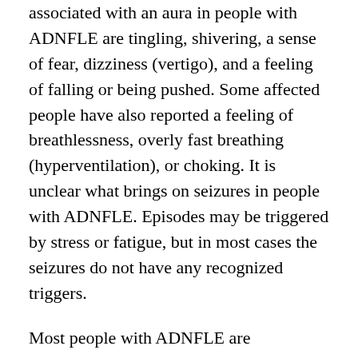associated with an aura in people with ADNFLE are tingling, shivering, a sense of fear, dizziness (vertigo), and a feeling of falling or being pushed. Some affected people have also reported a feeling of breathlessness, overly fast breathing (hyperventilation), or choking. It is unclear what brings on seizures in people with ADNFLE. Episodes may be triggered by stress or fatigue, but in most cases the seizures do not have any recognized triggers.
Most people with ADNFLE are intellectually normal, and there are no problems with their brain function between seizures. However, some people with ADNFLE have experienced psychiatric disorders, behavioral problems, or intellectual disability.
This week Addyson has her psychiatry appointment